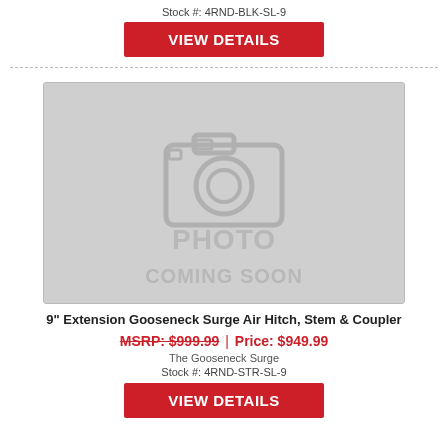Stock #: 4RND-BLK-SL-9
VIEW DETAILS
[Figure (photo): Photo coming soon placeholder image with camera icon and text 'PHOTO COMING SOON' on gray background]
9" Extension Gooseneck Surge Air Hitch, Stem & Coupler
MSRP: $999.99 | Price: $949.99
The Gooseneck Surge
Stock #: 4RND-STR-SL-9
VIEW DETAILS